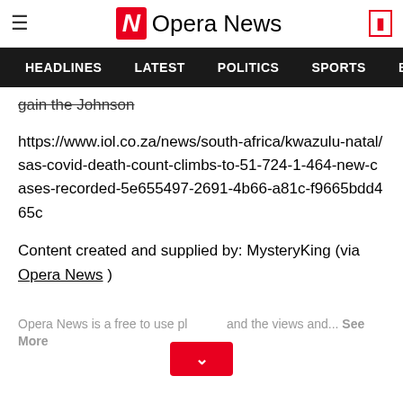Opera News
HEADLINES   LATEST   POLITICS   SPORTS   B
gain the Johnson
https://www.iol.co.za/news/south-africa/kwazulu-natal/sas-covid-death-count-climbs-to-51-724-1-464-new-cases-recorded-5e655497-2691-4b66-a81c-f9665bdd465c
Content created and supplied by: MysteryKing (via Opera News )
Opera News is a free to use platform and the views and... See More